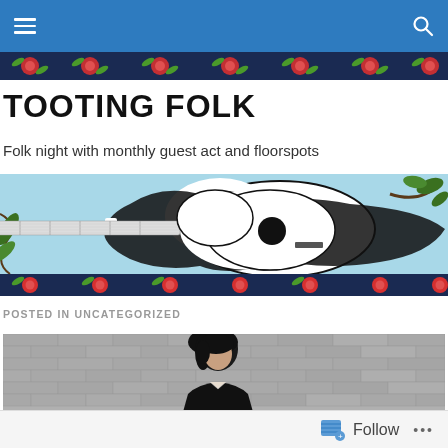Navigation bar with menu and search icons
[Figure (illustration): Floral pattern strip with dark navy background, red flowers, and green leaves]
TOOTING FOLK
Folk night with monthly guest act and floorspots
[Figure (illustration): Banner image with acoustic guitar (black and white graphic) on light blue background with floral decorative elements and a darker floral strip at bottom]
POSTED IN UNCATEGORIZED
[Figure (photo): Black and white photo of a person with dark hair in front of a brick wall, wearing dark clothing]
Follow   ...